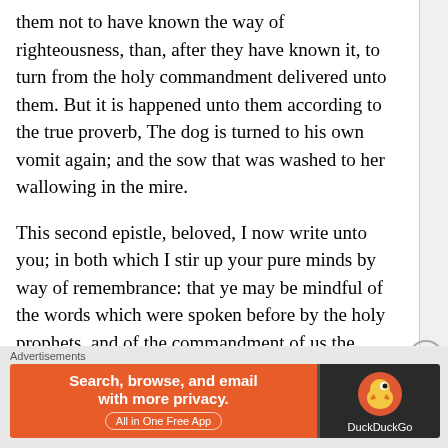them not to have known the way of righteousness, than, after they have known it, to turn from the holy commandment delivered unto them. But it is happened unto them according to the true proverb, The dog is turned to his own vomit again; and the sow that was washed to her wallowing in the mire.
This second epistle, beloved, I now write unto you; in both which I stir up your pure minds by way of remembrance: that ye may be mindful of the words which were spoken before by the holy prophets, and of the commandment of us the apostles of the Lord and Savior: knowing this first, that there shall come in the last days scoffers, walking after their own lusts, and saying, Where is the promise of his coming? for since
Advertisements
[Figure (other): DuckDuckGo advertisement banner: orange left panel with text 'Search, browse, and email with more privacy. All in One Free App' and dark right panel with DuckDuckGo duck logo and brand name.]